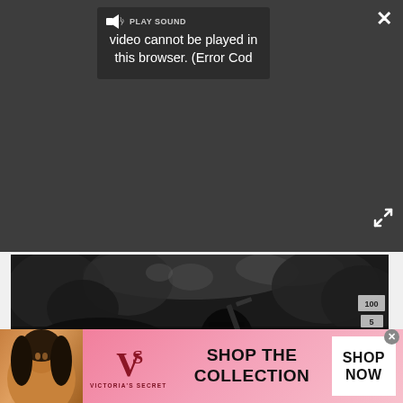[Figure (screenshot): Video player overlay showing error message: speaker icon, PLAY SOUND, 'video cannot be played in this browser. (Error Cod' on dark background with X close button and expand button]
[Figure (photo): Black and white game screenshot showing a person holding a gun in a forest setting, with HUD overlay boxes showing numbers 100, 5, 1]
Betrayer struck me as an interesting and worthy experiment in creating a shooter that has competent combat but doesn't necessarily define itself through it. The conquistadors are unsettling, but after an hour
[Figure (screenshot): Victoria's Secret advertisement banner with model, VS logo, 'SHOP THE COLLECTION' text, and 'SHOP NOW' button on pink gradient background]